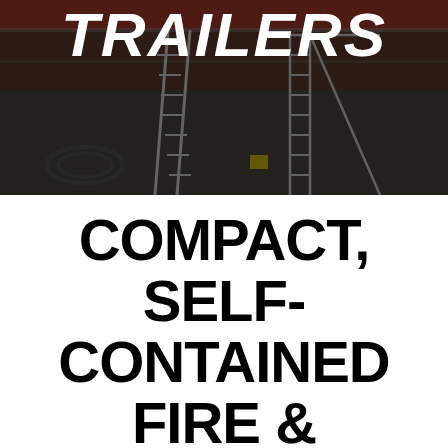[Figure (photo): Darkened photo of industrial trailers with a ladder and metal staircase on a paved surface, hoses and equipment visible in background]
TRAILERS
COMPACT, SELF-CONTAINED FIRE & SAFETY TRAINING